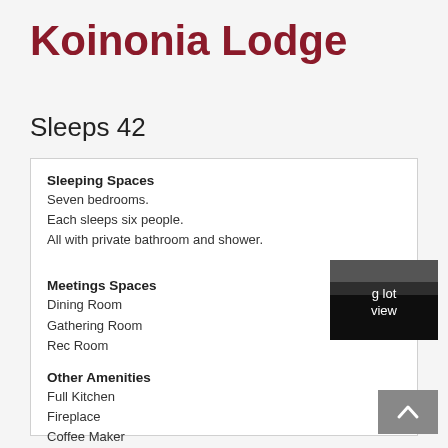Koinonia Lodge
Sleeps 42
Sleeping Spaces
Seven bedrooms.
Each sleeps six people.
All with private bathroom and shower.
Meetings Spaces
Dining Room
Gathering Room
Rec Room
Other Amenities
Full Kitchen
Fireplace
Coffee Maker
[Figure (photo): Small thumbnail photo of a lodge view with text overlay 'g lot view']